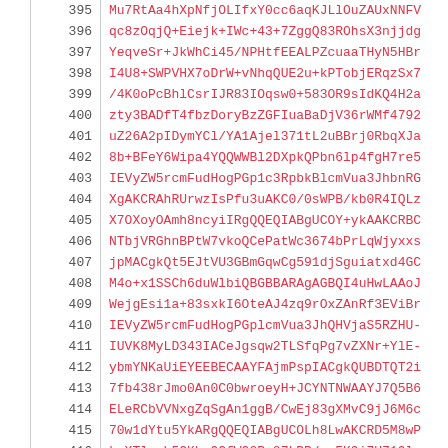| line | code |
| --- | --- |
| 395 | Mu7RtAa4hXpNfjOLIfxY0cc6aqKJLlOuZAUxNNFV... |
| 396 | qc8zOqjQ+Eiejk+IWc+43+7ZggQ83ROhsX3njjdg... |
| 397 | YeqveSr+JkWhCi45/NPHtfEEALPZcuaaTHyN5HBr... |
| 398 | I4U8+SWPVHX7oDrW+vNhqQUE2u+kPTobjERqzSx7... |
| 399 | /4K0oPcBhlCsrIJR83IOqsw0+583OR9sIdKQ4H2a... |
| 400 | zty3BADfT4fbzDoryBzZGFIuaBaDjV36rWMf479z... |
| 401 | uZ26A2pIDymYCl/YA1Ajel371tL2uBBrj0RbqXJa... |
| 402 | 8b+BFeY6Wipa4YQQWWBl2DXpkQPbn6lp4fgH7re5... |
| 403 | IEVyZW5rcmFudHogPGp1c3RpbkBlcmVua3JhbnR... |
| 404 | XgAKCRAhRUrwzIsPfu3uAKC0/0sWPB/kb0R4IQLz... |
| 405 | X7OXoyOAmh8ncyiIRgQQEQIABgUCOY+ykAAKCRBC... |
| 406 | NTbjVRGhnBPtW7vkoQCePatWc3674bPrLqWjyxxs... |
| 407 | jpMACgkQt5EJtVU3GBmGqwCg591djSguiatxd4GC... |
| 408 | M4o+x1SSCh6duWlbiQBGBBARAgAGBQI4uHwLAAoJ... |
| 409 | WejgEsi1a+83sxkI6OteAJ4zq9rOxZAnRf3EViB... |
| 410 | IEVyZW5rcmFudHogPGplcmVua3JhQHVjaS5SZHU-... |
| 411 | IUVK8MyLD343IACeJgsqw2TLSfqPg7vZXNr+YlE-... |
| 412 | ybmYNKaUiEYEEBECAAYFAjmPspIACgkQUBDTQT2i... |
| 413 | 7fb438rJmo0An0C0bwroeyH+JCYNTNWAAYJ7Q5B6... |
| 414 | ELeRCbVVNxgZqSgAn1ggB/CwEj83gXMvC9jJ6M6c... |
| 415 | 70w1dYtu5YkARgQQEQIABgUCOLh8LwAKCRD5M8wP... |
| 416 | kwXTlqcb5GKhqQCfWQ0R+87LPP/mpFK9i7U71Olm... |
| 417 | a3JhbnR6IDxqZXJlbmtyYW50ekBhY20ub3JnPoh... |
| 418 | SvDMiw9+9QgAnipmohCeCe6plQqqsNGFsJ74WVru... |
| 419 | wA7w/4hCRBARAgACRQIFi7KSAAoJEEA0Q0F0nju... |